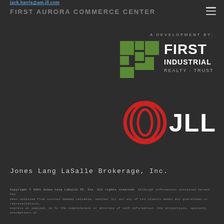jack.harris@am.jll.com
FIRST AURORA COMMERCE CENTER
A DEVELOPMENT BY:
[Figure (logo): First Industrial Realty Trust logo with green grid icon and white text]
[Figure (logo): JLL logo with red circular swirl icon and white JLL text]
Jones Lang LaSalle Brokerage, Inc.
Copyright © 2021 Jones Lang LaSalle IP, Inc. All rights reserved. Although information contained herein has been obtained from sources deemed reliable, neither JLL nor any of its clients makes any guarantees or representations, express or implied, as to the completeness or accuracy of such information. Any projections, opinions, assumptions or